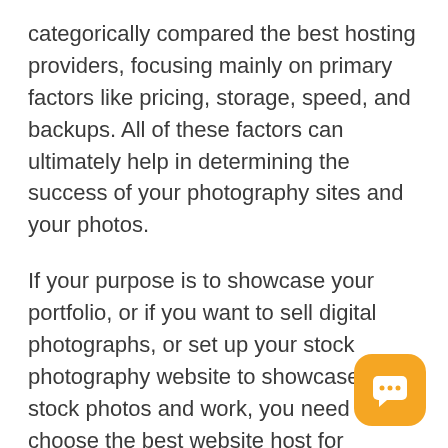categorically compared the best hosting providers, focusing mainly on primary factors like pricing, storage, speed, and backups. All of these factors can ultimately help in determining the success of your photography sites and your photos.
If your purpose is to showcase your portfolio, or if you want to sell digital photographs, or set up your stock photography website to showcase your stock photos and work, you need to choose the best website host for serving your imagery to online visitors. There are specific proven alternative paths that you can opt for while h your website.
[Figure (other): Orange rounded-square chat/messaging button icon with three dots (ellipsis) inside a speech bubble, positioned bottom-right corner]